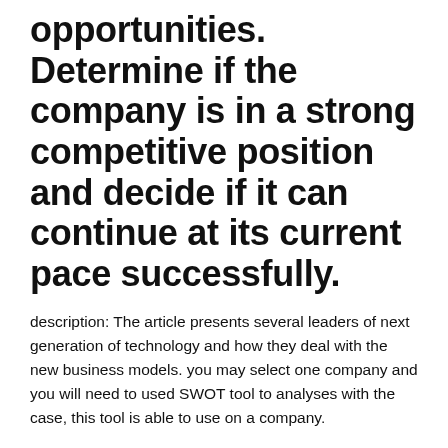opportunities. Determine if the company is in a strong competitive position and decide if it can continue at its current pace successfully.
description: The article presents several leaders of next generation of technology and how they deal with the new business models. you may select one company and you will need to used SWOT tool to analyses with the case, this tool is able to use on a company.